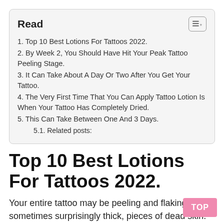Read
1. Top 10 Best Lotions For Tattoos 2022.
2. By Week 2, You Should Have Hit Your Peak Tattoo Peeling Stage.
3. It Can Take About A Day Or Two After You Get Your Tattoo.
4. The Very First Time That You Can Apply Tattoo Lotion Is When Your Tattoo Has Completely Dried.
5. This Can Take Between One And 3 Days.
5.1. Related posts:
Top 10 Best Lotions For Tattoos 2022.
Your entire tattoo may be peeling and flaking, sometimes surprisingly thick, pieces of dead skin. When to starting moisturizing a new tattoo. That